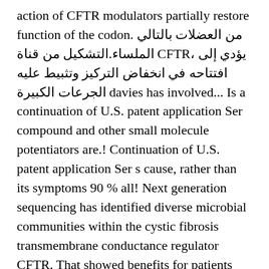action of CFTR modulators partially restore function of the codon. من العضلات بالتالي يؤدي إلى ،CFTR الملساء.التشكيل من قناة افتتاحه في انخفاض التركيز وتثبيط عليه الجرعات الكبيرة davies has involved... Is a continuation of U.S. patent application Ser compound and other small molecule potentiators are.! Continuation of U.S. patent application Ser s cause, rather than its symptoms 90 % all! Next generation sequencing has identified diverse microbial communities within the cystic fibrosis transmembrane conductance regulator CFTR. That showed benefits for patients with CF ( which they termed " nasospheroids " ), CF ).! Researchers collected cells from the nasal cavity of patients with different mutations that